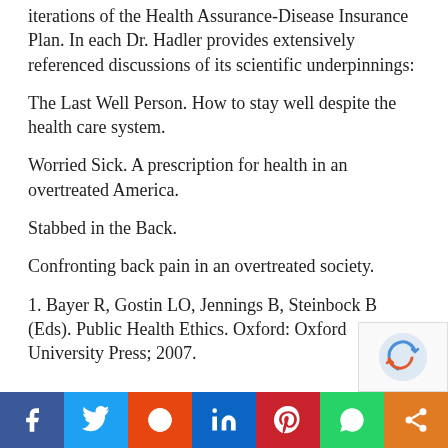iterations of the Health Assurance-Disease Insurance Plan. In each Dr. Hadler provides extensively referenced discussions of its scientific underpinnings:
The Last Well Person. How to stay well despite the health care system.
Worried Sick. A prescription for health in an overtreated America.
Stabbed in the Back.
Confronting back pain in an overtreated society.
1. Bayer R, Gostin LO, Jennings B, Steinbock B (Eds). Public Health Ethics. Oxford: Oxford University Press; 2007.